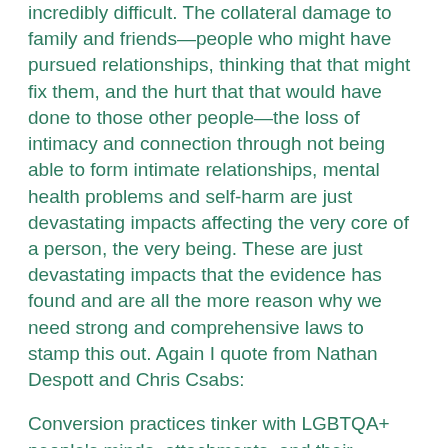incredibly difficult. The collateral damage to family and friends—people who might have pursued relationships, thinking that that might fix them, and the hurt that that would have done to those other people—the loss of intimacy and connection through not being able to form intimate relationships, mental health problems and self-harm are just devastating impacts affecting the very core of a person, the very being. These are just devastating impacts that the evidence has found and are all the more reason why we need strong and comprehensive laws to stamp this out. Again I quote from Nathan Despott and Chris Csabs:
Conversion practices tinker with LGBTQA+ people's minds, attachments, and their deepest sense of self, ruining family connections and causing suicidal ideation rates that are among some of the highest of any cohort of the population.
This bill provides for both criminal offences and civil processes and importantly covers the broad range of formal and informal practices. That broad definition is